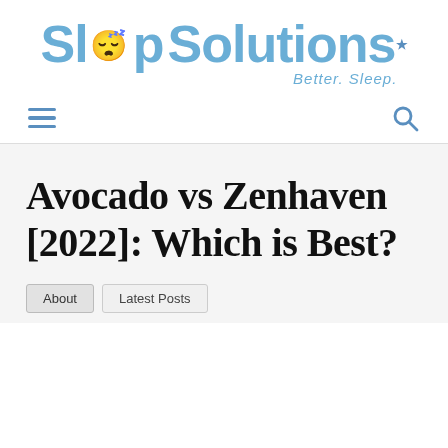[Figure (logo): Sleep Solutions logo with stylized text, closed eye icons replacing 'ee' in Sleep, a star above the 'i' in Solutions, and tagline 'Better. Sleep.' below]
[Figure (infographic): Navigation bar with hamburger menu icon on the left and search magnifying glass icon on the right]
Avocado vs Zenhaven [2022]: Which is Best?
About   Latest Posts